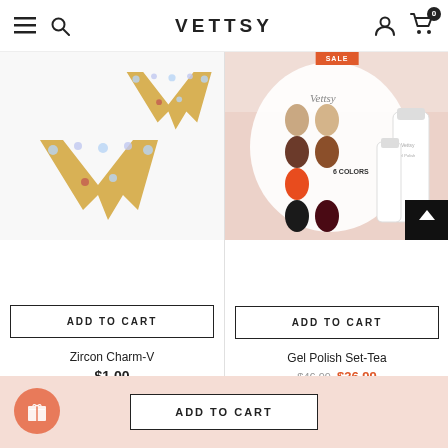VETTSY
[Figure (photo): Zircon Charm-V nail charm — gold V-shaped charms with blue zircon crystals, shown as two pieces on white background]
ADD TO CART
Zircon Charm-V
$1.00
[Figure (photo): Gel Polish Set-Tea — nail color swatch display card showing 6 colors ranging from nude to dark brown, orange, and dark red/black, with gel polish bottles in background on pink surface]
ADD TO CART
Gel Polish Set-Tea
$46.99  $36.99
ADD TO CART